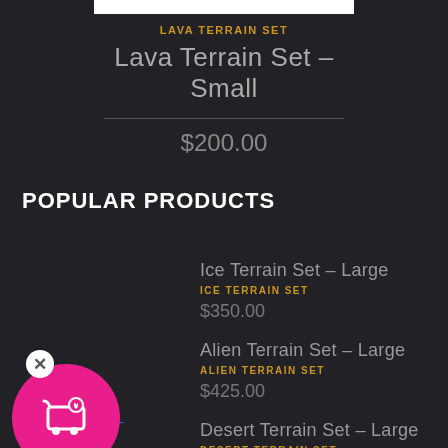LAVA TERRAIN SET
Lava Terrain Set – Small
$200.00
POPULAR PRODUCTS
Ice Terrain Set – Large
ICE TERRAIN SET
$350.00
Alien Terrain Set – Large
ALIEN TERRAIN SET
$425.00
Desert Terrain Set – Large
DESERT TERRAIN SET